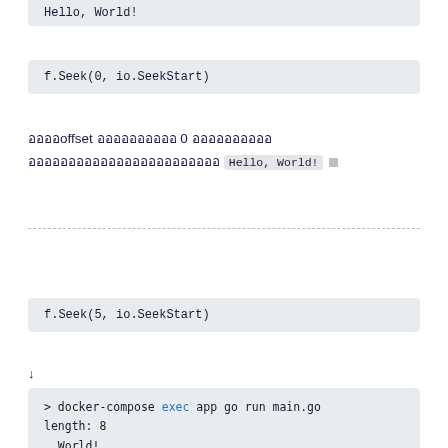Hello, World!
f.Seek(0, io.SeekStart)
ออออoffset ออออออออออ 0 ออออออออออ ออออออออออออออออออออออออ Hello, World! □
f.Seek(5, io.SeekStart)
↓
> docker-compose exec app go run main.go
length: 8
, World!